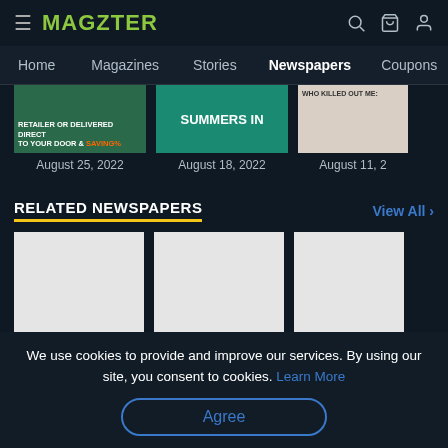MAGZTER
Home   Magazines   Stories   Newspapers   Coupons
August 25, 2022
August 18, 2022
August 11, 2
RELATED NEWSPAPERS
View All >
[Figure (screenshot): Three placeholder grey thumbnail cards for related newspapers]
We use cookies to provide and improve our services. By using our site, you consent to cookies. Learn More
Agree